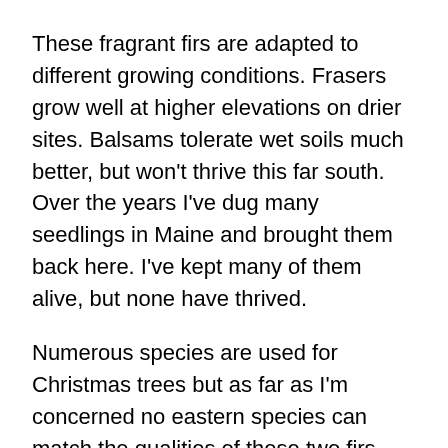These fragrant firs are adapted to different growing conditions. Frasers grow well at higher elevations on drier sites. Balsams tolerate wet soils much better, but won't thrive this far south. Over the years I've dug many seedlings in Maine and brought them back here. I've kept many of them alive, but none have thrived.
Numerous species are used for Christmas trees but as far as I'm concerned no eastern species can match the qualities of these two firs. Both have great needle retention and aroma. Many different pines and spruces sometimes find their way into our living rooms too.
Blue spruce is a popular species often dug and their root balls wrapped in burlap. These trees should be planted outside as soon as possible after the holidays. They make a great landscaping tree, but they don't grow especially